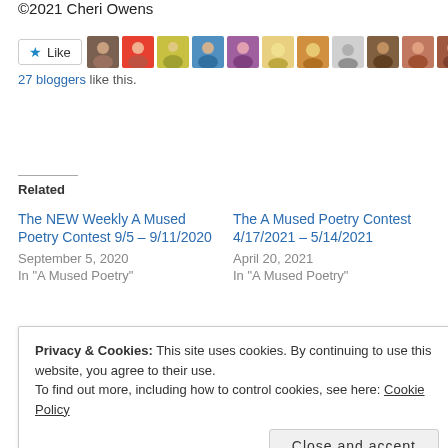©2021 Cheri Owens
[Figure (other): Like button with star icon and a row of blogger avatar profile photos. Text: 27 bloggers like this.]
Related
The NEW Weekly A Mused Poetry Contest 9/5 – 9/11/2020
September 5, 2020
In "A Mused Poetry"
The A Mused Poetry Contest 4/17/2021 – 5/14/2021
April 20, 2021
In "A Mused Poetry"
WINNER of the A Mused
Privacy & Cookies: This site uses cookies. By continuing to use this website, you agree to their use.
To find out more, including how to control cookies, see here: Cookie Policy
Close and accept
A Mused Poetry